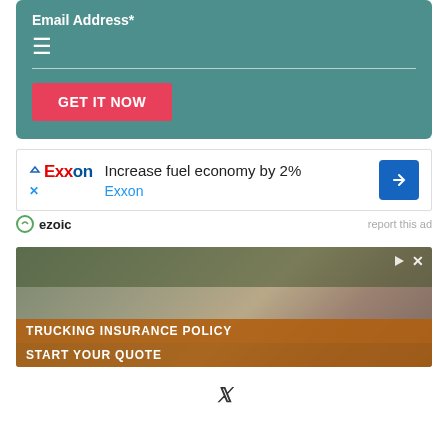Email Address*
[Figure (screenshot): Teal form box with Email Address label, hamburger menu icon, horizontal input line, and red GET IT NOW button]
[Figure (screenshot): Exxon advertisement: Increase fuel economy by 2% with Exxon logo and blue arrow icon]
ezoic   report this ad
[Figure (photo): Trucking insurance policy advertisement showing a man in a cap smiling, with orange overlay text: TRUCKING INSURANCE POLICY / START YOUR QUOTE]